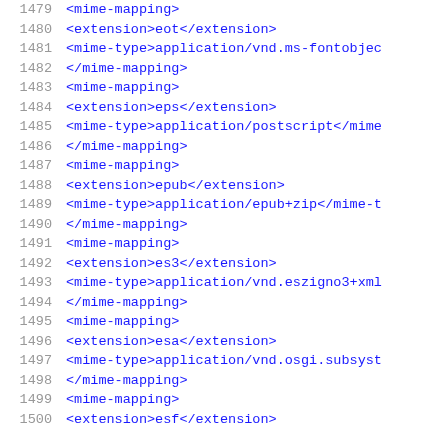1479: <mime-mapping>
1480:     <extension>eot</extension>
1481:     <mime-type>application/vnd.ms-fontobject</mime-type>
1482: </mime-mapping>
1483: <mime-mapping>
1484:     <extension>eps</extension>
1485:     <mime-type>application/postscript</mime-type>
1486: </mime-mapping>
1487: <mime-mapping>
1488:     <extension>epub</extension>
1489:     <mime-type>application/epub+zip</mime-type>
1490: </mime-mapping>
1491: <mime-mapping>
1492:     <extension>es3</extension>
1493:     <mime-type>application/vnd.eszigno3+xml</mime-type>
1494: </mime-mapping>
1495: <mime-mapping>
1496:     <extension>esa</extension>
1497:     <mime-type>application/vnd.osgi.subsystem</mime-type>
1498: </mime-mapping>
1499: <mime-mapping>
1500:     <extension>esf</extension>